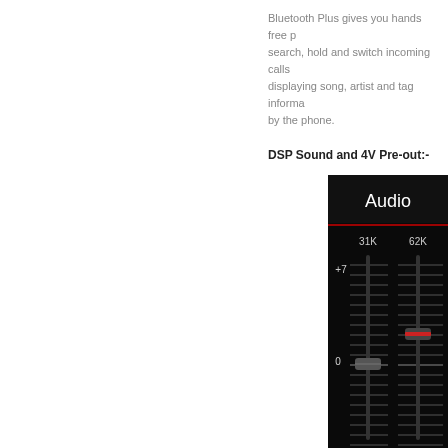Bluetooth Plus gives you hands free p... search, hold and switch incoming calls... displaying song, artist and tag informa... by the phone.
DSP Sound and 4V Pre-out:-
[Figure (screenshot): Audio equalizer interface on a dark/black background showing 'Audio' title, a red horizontal divider, frequency labels 31K and 62K at top, dB labels +7 and 0 on the left axis, and two vertical slider controls — the 31K slider positioned at 0 dB and the 62K slider positioned slightly above 0 dB with a red highlighted handle.]